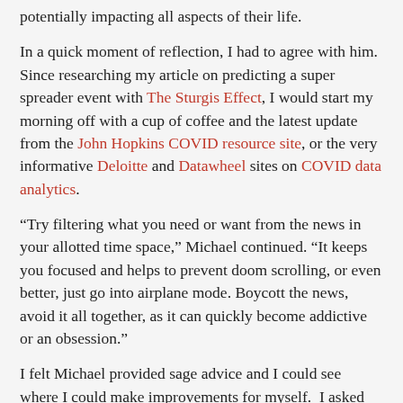potentially impacting all aspects of their life.
In a quick moment of reflection, I had to agree with him. Since researching my article on predicting a super spreader event with The Sturgis Effect, I would start my morning off with a cup of coffee and the latest update from the John Hopkins COVID resource site, or the very informative Deloitte and Datawheel sites on COVID data analytics.
“Try filtering what you need or want from the news in your allotted time space,” Michael continued. “It keeps you focused and helps to prevent doom scrolling, or even better, just go into airplane mode. Boycott the news, avoid it all together, as it can quickly become addictive or an obsession.”
I felt Michael provided sage advice and I could see where I could make improvements for myself.  I asked Michael if he had any last takeaways.
“Absolutely! When you get home, talk positively at dinner as much as possible. Share something good that happened in your day. News and technology should be taboo at the table, as well as around family and friends. Pick up the phone and reach out to someone you have been